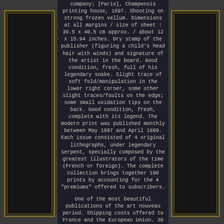company; [Paris], Champenois printing house, 1897. Shooting on strong frozen vellum. Dimensions at all margins / size of sheet : 30.5 x 40.5 cm approx. / about 12 x 15.94 inches. Dry stamp of the publisher (figuring a child's head hair with winds) and signature of the artist in the board. Good condition, fresh, full of his legendary snake. Slight trace of soft fold/manipulation in the lower right corner, some other slight traces/faults on the edge; some small oxidation tips on the back. Good condition, fresh, complete with its legend. The modern print was published monthly between May 1897 and April 1899. Each issue consisted of 4 original lithographs, under legendary serpent, specially composed by the greatest illustrators of the time (French or foreign). The complete collection brings together 100 prints by accounting for the 4 "premiums" offered to subscribers.
One of the most beautiful publications of the art nouveau period. Shipping costs offered to France and the European Union. 30 euro package to the rest of the world. Package of 30 euros to the rest of the world.
Click on the photographs below to view them full page. The item "L'estampe moderne louis-auguste girardot femme du riff original lithograph 1897" has been on sale since